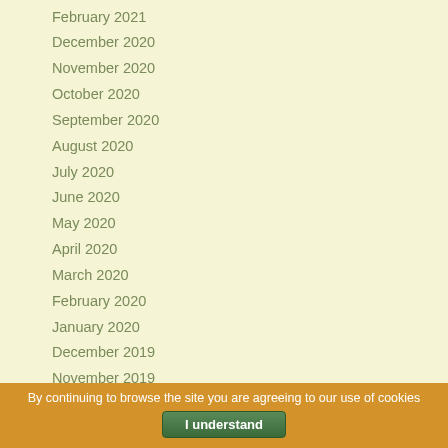February 2021
December 2020
November 2020
October 2020
September 2020
August 2020
July 2020
June 2020
May 2020
April 2020
March 2020
February 2020
January 2020
December 2019
November 2019
October 2019
September 2019
August 2019
July 2019
By continuing to browse the site you are agreeing to our use of cookies
I understand